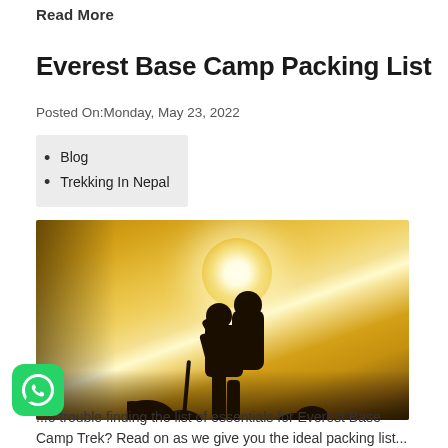Read More
Everest Base Camp Packing List
Posted On:Monday, May 23, 2022
Blog
Trekking In Nepal
[Figure (photo): Silhouette of a hiker with backpack and trekking poles against a golden sunset sky]
...e trouble finding the list of essentials for Everest Base Camp Trek? Read on as we give you the ideal packing list...